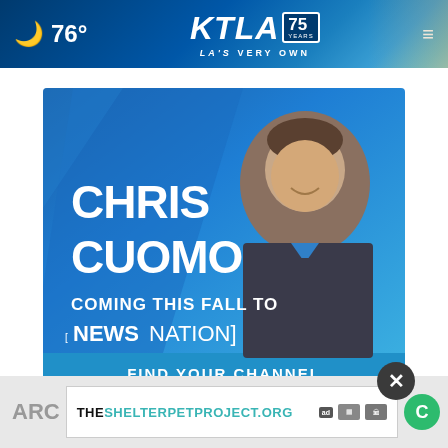76° KTLA 75 YEARS LA'S VERY OWN
[Figure (screenshot): Advertisement for Chris Cuomo coming this fall to NewsNation with Find Your Channel call to action. Blue background with man in suit.]
ARC
[Figure (screenshot): Bottom advertisement banner: THESHELTERPETPROJECT.ORG with ad logos]